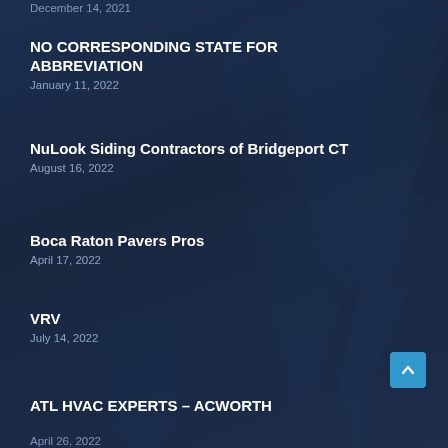December 14, 2021
NO CORRESPONDING STATE FOR ABBREVIATION
January 11, 2022
NuLook Siding Contractors of Bridgeport CT
August 16, 2022
Boca Raton Pavers Pros
April 17, 2022
VRV
July 14, 2022
ATL HVAC Experts – Acworth
April 26, 2022